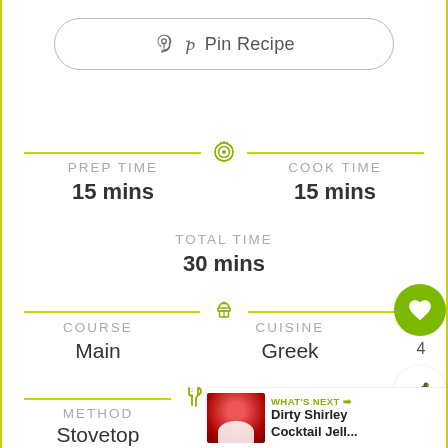[Figure (other): Pin Recipe button with Pinterest logo]
PREP TIME
15 mins
COOK TIME
15 mins
TOTAL TIME
30 mins
COURSE
Main
CUISINE
Greek
METHOD
Stovetop
SERVINGS
6
[Figure (other): What's Next promo banner: Dirty Shirley Cocktail Jell...]